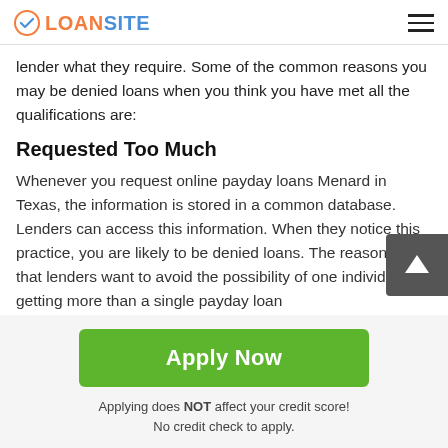LOANSITE
lender what they require. Some of the common reasons you may be denied loans when you think you have met all the qualifications are:
Requested Too Much
Whenever you request online payday loans Menard in Texas, the information is stored in a common database. Lenders can access this information. When they notice this practice, you are likely to be denied loans. The reason this is that lenders want to avoid the possibility of one individual getting more than a single payday loan
Apply Now
Applying does NOT affect your credit score!
No credit check to apply.